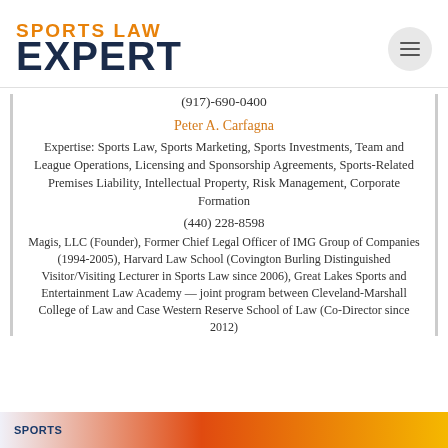SPORTS LAW EXPERT
(917)-690-0400
Peter A. Carfagna
Expertise: Sports Law, Sports Marketing, Sports Investments, Team and League Operations, Licensing and Sponsorship Agreements, Sports-Related Premises Liability, Intellectual Property, Risk Management, Corporate Formation
(440) 228-8598
Magis, LLC (Founder), Former Chief Legal Officer of IMG Group of Companies (1994-2005), Harvard Law School (Covington Burling Distinguished Visitor/Visiting Lecturer in Sports Law since 2006), Great Lakes Sports and Entertainment Law Academy — joint program between Cleveland-Marshall College of Law and Case Western Reserve School of Law (Co-Director since 2012)
[Figure (other): Bottom banner strip with Sports Law Expert logo and orange/yellow gradient]